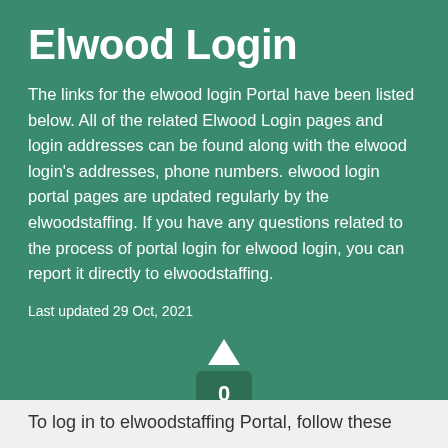Elwood Login
The links for the elwood login Portal have been listed below. All of the related Elwood Login pages and login addresses can be found along with the elwood login’s addresses, phone numbers. elwood login portal pages are updated regularly by the elwoodstaffing. If you have any questions related to the process of portal login for elwood login, you can report it directly to elwoodstaffing.
Last updated 29 Oct, 2021
[Figure (infographic): Vote widget showing up arrow, a count of 0 in a dark green box, and a down arrow]
To log in to elwoodstaffing Portal, follow these